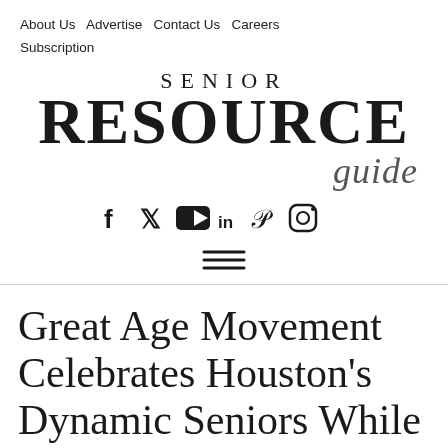About Us  Advertise  Contact Us  Careers  Subscription
[Figure (logo): Senior Resource Guide logo with SENIOR in spaced caps, RESOURCE in large bold serif, and 'guide' in italic script below]
[Figure (infographic): Social media icons: Facebook, Twitter/X, YouTube, LinkedIn, Pinterest, Instagram]
[Figure (infographic): Hamburger menu icon (three horizontal lines)]
Great Age Movement Celebrates Houston's Dynamic Seniors While